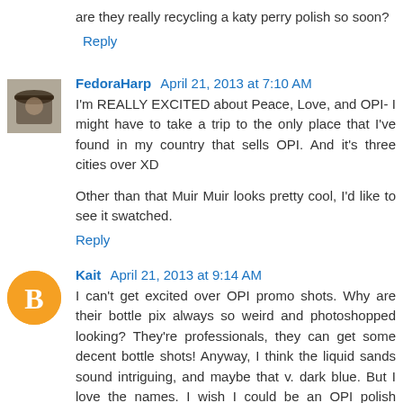are they really recycling a katy perry polish so soon?
Reply
FedoraHarp  April 21, 2013 at 7:10 AM
I'm REALLY EXCITED about Peace, Love, and OPI- I might have to take a trip to the only place that I've found in my country that sells OPI. And it's three cities over XD
Other than that Muir Muir looks pretty cool, I'd like to see it swatched.
Reply
Kait  April 21, 2013 at 9:14 AM
I can't get excited over OPI promo shots. Why are their bottle pix always so weird and photoshopped looking? They're professionals, they can get some decent bottle shots! Anyway, I think the liquid sands sound intriguing, and maybe that v. dark blue. But I love the names. I wish I could be an OPI polish namer.